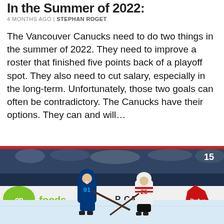In the Summer of 2022
4 MONTHS AGO | STEPHAN ROGET
The Vancouver Canucks need to do two things in the summer of 2022. They need to improve a roster that finished five points back of a playoff spot. They also need to cut salary, especially in the long-term. Unfortunately, those two goals can often be contradictory. The Canucks have their options. They can and will…
[Figure (photo): Hockey players on the ice: a Vancouver Canucks player wearing #91 in blue jersey battles against an Ottawa Senators player in white jersey #26. Rink boards show 'on foods', 'R CAN', 'Budwe' (Budweiser) branding. Number 15 visible in upper right corner of image.]